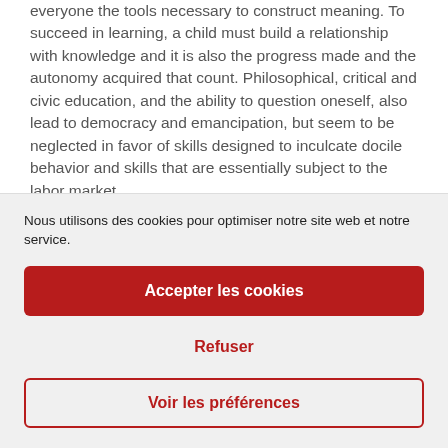everyone the tools necessary to construct meaning. To succeed in learning, a child must build a relationship with knowledge and it is also the progress made and the autonomy acquired that count. Philosophical, critical and civic education, and the ability to question oneself, also lead to democracy and emancipation, but seem to be neglected in favor of skills designed to inculcate docile behavior and skills that are essentially subject to the labor market.
But we want  » a school that forms critical citizens. capable of
Nous utilisons des cookies pour optimiser notre site web et notre service.
Accepter les cookies
Refuser
Voir les préférences